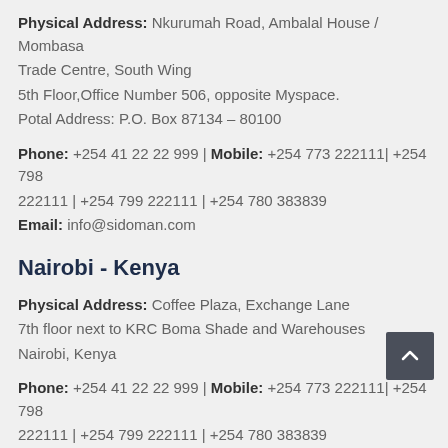Physical Address: Nkurumah Road, Ambalal House / Mombasa Trade Centre, South Wing
5th Floor,Office Number 506, opposite Myspace.
Potal Address: P.O. Box 87134 – 80100
Phone: +254 41 22 22 999 | Mobile: +254 773 222111| +254 798 222111 | +254 799 222111 | +254 780 383839
Email: info@sidoman.com
Nairobi - Kenya
Physical Address: Coffee Plaza, Exchange Lane
7th floor next to KRC Boma Shade and Warehouses
Nairobi, Kenya
Phone: +254 41 22 22 999 | Mobile: +254 773 222111| +254 798 222111 | +254 799 222111 | +254 780 383839
Email: info@sidoman.com
K...